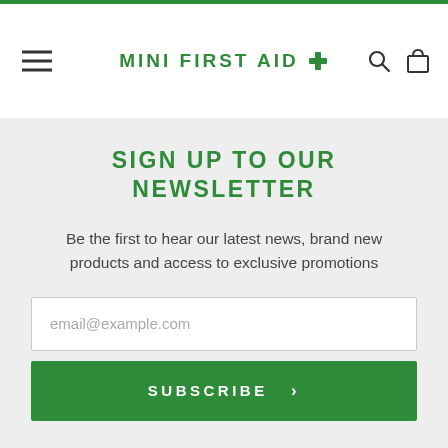MINI FIRST AID
SIGN UP TO OUR NEWSLETTER
Be the first to hear our latest news, brand new products and access to exclusive promotions
email@example.com
SUBSCRIBE >